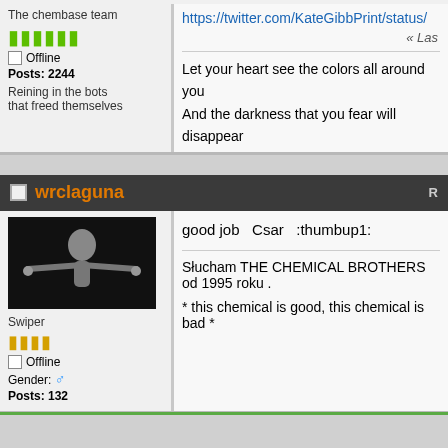The chembase team
Posts: 2244
Reining in the bots that freed themselves
https://twitter.com/KateGibbPrint/status/
« Las
Let your heart see the colors all around you
And the darkness that you fear will disappear
wrclaguna
[Figure (photo): Avatar image showing a figure with arms outstretched against a dark background]
Swiper
Offline
Gender: male
Posts: 132
good job   Csar   :thumbup1:
Słucham THE CHEMICAL BROTHERS od 1995 roku .
* this chemical is good, this chemical is bad *